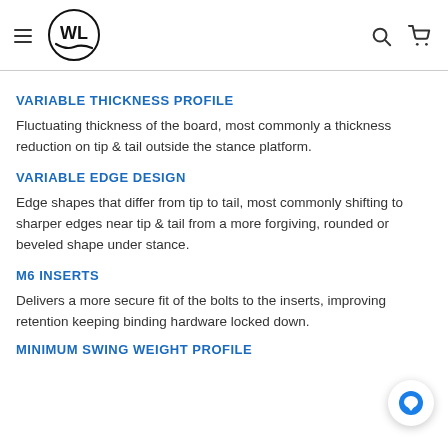WL logo, hamburger menu, search and cart icons
VARIABLE THICKNESS PROFILE
Fluctuating thickness of the board, most commonly a thickness reduction on tip & tail outside the stance platform.
VARIABLE EDGE DESIGN
Edge shapes that differ from tip to tail, most commonly shifting to sharper edges near tip & tail from a more forgiving, rounded or beveled shape under stance.
M6 INSERTS
Delivers a more secure fit of the bolts to the inserts, improving retention keeping binding hardware locked down.
MINIMUM SWING WEIGHT PROFILE